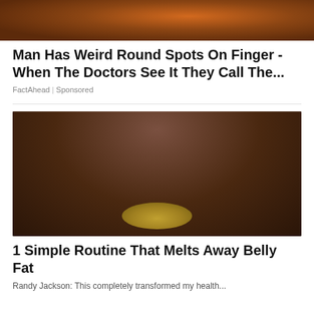[Figure (photo): Close-up photo of food item, brownish-orange tones, partially cropped at top]
Man Has Weird Round Spots On Finger - When The Doctors See It They Call The...
FactAhead | Sponsored
[Figure (photo): Man with glasses holding a large pot with lemon slices, in a kitchen setting with brick wall background]
1 Simple Routine That Melts Away Belly Fat
Randy Jackson: This completely transformed my health...